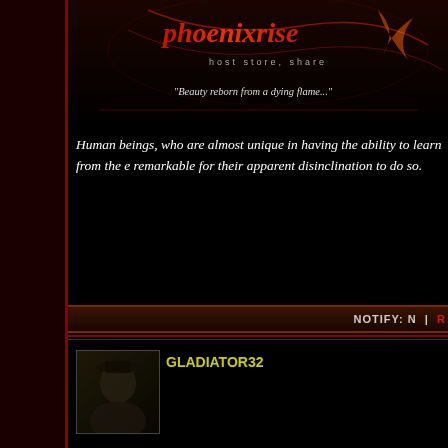[Figure (illustration): Website banner with stylized red/dark title text, subtitle 'host store share', and quote 'Beauty reborn from a dying flame...' on a dark background with decorative imagery]
Human beings, who are almost unique in having the ability to learn from the experience of others, are also remarkable for their apparent disinclination to do so.
NOTIFY: N  |  R
[Figure (photo): Small avatar photo of a person (GLADIATOR32 user profile picture), dark toned image]
GLADIATOR32
Roxy - The lighting's really quite awesome in that pic, good pic!
PR - That first pic has to be one of the most random things I ever saw! Cute,
------------------------------
[Figure (screenshot): Image placeholder box with text 'Sorry. This Image Is currently Unavailable' on white/light grey background]